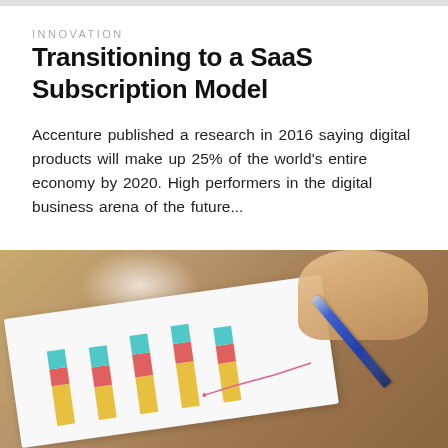INNOVATION
Transitioning to a SaaS Subscription Model
Accenture published a research in 2016 saying digital products will make up 25% of the world's entire economy by 2020. High performers in the digital business arena of the future...
[Figure (photo): A hand holding a blue pen pointing at a colorful bar chart on paper, placed on a wooden table surface.]